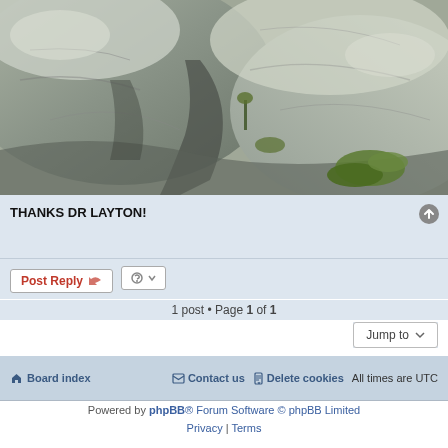[Figure (photo): Photograph of large granite rocks and boulders with green moss and vegetation growing in crevices]
THANKS DR LAYTON!
Post Reply  [tools]
1 post • Page 1 of 1
Jump to
Board index  Contact us  Delete cookies  All times are UTC
Powered by phpBB® Forum Software © phpBB Limited  Privacy | Terms